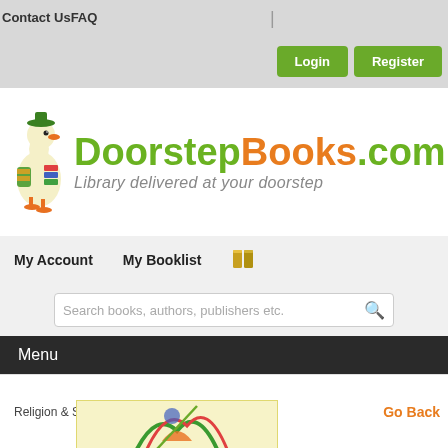Contact Us  FAQ
[Figure (screenshot): Login and Register green buttons in top navigation bar]
[Figure (logo): DoorstepBooks.com logo with duck mascot carrying books. Text: DoorstepBooks.com - Library delivered at your doorstep]
My Account   My Booklist
[Figure (illustration): Small orange/yellow books icon]
Search books, authors, publishers etc.
Menu
Religion & Spirituality » Spiritualilty
Go Back
[Figure (illustration): Book cover preview with colorful illustration on yellow background]